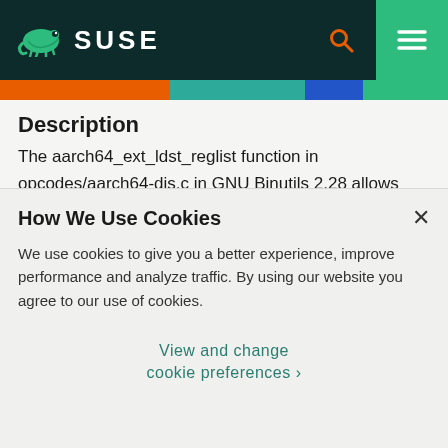SUSE
Description
The aarch64_ext_ldst_reglist function in opcodes/aarch64-dis.c in GNU Binutils 2.28 allows remote attackers to cause a denial of service (buffer overflow and application crash) or possibly have unspecified other impact via a crafted binary file, as demonstrated by
How We Use Cookies
We use cookies to give you a better experience, improve performance and analyze traffic. By using our website you agree to our use of cookies.
View and change cookie preferences >